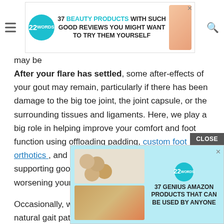[Figure (screenshot): Top advertisement banner: '37 BEAUTY PRODUCTS WITH SUCH GOOD REVIEWS YOU MIGHT WANT TO TRY THEM YOURSELF' with 22 Words logo circle in teal, hamburger menu icon, search icon, and product image]
may be...
After your flare has settled, some after-effects of your gout may remain, particularly if there has been damage to the big toe joint, the joint capsule, or the surrounding tissues and ligaments. Here, we play a big role in helping improve your comfort and foot function using offloading padding, custom foot orthotics , and ensuring that your shoes are supporting good, comfortable foot function and not worsening your symptoms.
Occasionally, we see patients that have altered their natural gait pattern so much during a gout flare to try to reduce their pain th... ve resulte... s, wound... ound the joi...
[Figure (screenshot): Bottom advertisement overlay: '37 GENIUS AMAZON PRODUCTS THAT CAN BE USED BY ANYONE' with 22 Words logo and two images (baking/cookies and makeup products) on a light blue background. CLOSE button visible.]